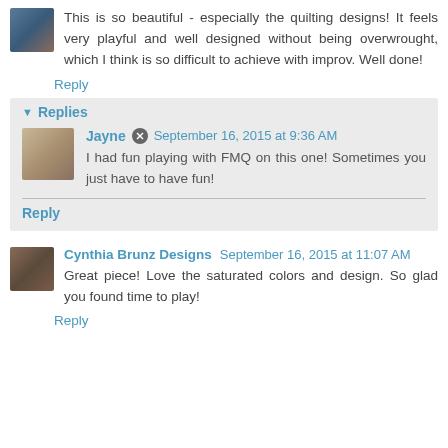This is so beautiful - especially the quilting designs! It feels very playful and well designed without being overwrought, which I think is so difficult to achieve with improv. Well done!
Reply
Replies
Jayne  September 16, 2015 at 9:36 AM
I had fun playing with FMQ on this one! Sometimes you just have to have fun!
Reply
Cynthia Brunz Designs  September 16, 2015 at 11:07 AM
Great piece! Love the saturated colors and design. So glad you found time to play!
Reply